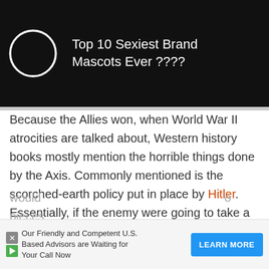[Figure (screenshot): Black banner ad with white circle logo and text 'Top 10 Sexiest Brand Mascots Ever ????' with close button]
Because the Allies won, when World War II atrocities are talked about, Western history books mostly mention the horrible things done by the Axis. Commonly mentioned is the scorched-earth policy put in place by Hitler. Essentially, if the enemy were going to take a territory, the Germans would burn down all crops, destroy all buildings, and ruin any railroad or other infrastructure to make it harder for the enemy to advance. Many of Hitler's own commanders thought this was insane and got away many times with actively resisting it. Their argument was that they could always take the place back later, and they felt it would ... o pieces ...
[Figure (screenshot): Bottom advertisement: 'Our Friendly and Competent US Based Advisors are Waiting for Your Call Now' with LEARN MORE button]